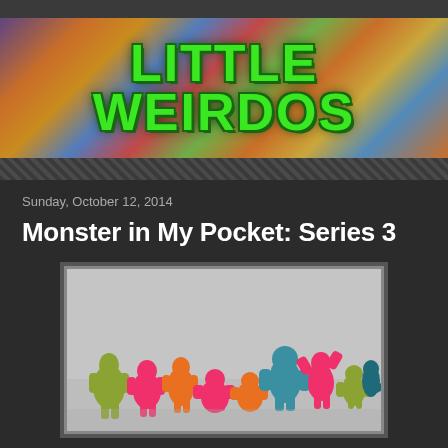[Figure (photo): Little Weirdos blog banner header with colorful monster mini-figures in background and 'LITTLE WEIRDOS' text in green gothic font]
Sunday, October 12, 2014
Monster in My Pocket: Series 3
[Figure (photo): Group of colorful Monster in My Pocket Series 3 mini rubber figures in various colors - green, pink, orange, teal, positioned together on a reflective surface]
Since Monster in My Pocket is one of the biggest, most collectible, and arguably one of the greatest lines of little